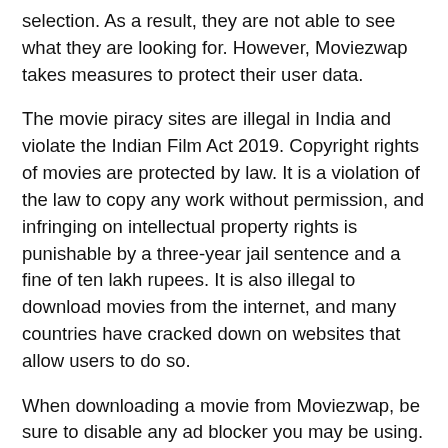selection. As a result, they are not able to see what they are looking for. However, Moviezwap takes measures to protect their user data.
The movie piracy sites are illegal in India and violate the Indian Film Act 2019. Copyright rights of movies are protected by law. It is a violation of the law to copy any work without permission, and infringing on intellectual property rights is punishable by a three-year jail sentence and a fine of ten lakh rupees. It is also illegal to download movies from the internet, and many countries have cracked down on websites that allow users to do so.
When downloading a movie from Moviezwap, be sure to disable any ad blocker you may be using. This will help keep malware and site infections from invading your computer or mobile phone. Moreover, if you're using an adblocker, install a safe one. You may be asked to disable